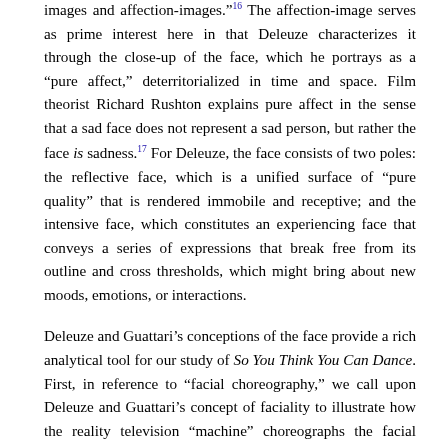images and affection-images."16 The affection-image serves as prime interest here in that Deleuze characterizes it through the close-up of the face, which he portrays as a "pure affect," deterritorialized in time and space. Film theorist Richard Rushton explains pure affect in the sense that a sad face does not represent a sad person, but rather the face is sadness.17 For Deleuze, the face consists of two poles: the reflective face, which is a unified surface of "pure quality" that is rendered immobile and receptive; and the intensive face, which constitutes an experiencing face that conveys a series of expressions that break free from its outline and cross thresholds, which might bring about new moods, emotions, or interactions.
Deleuze and Guattari's conceptions of the face provide a rich analytical tool for our study of So You Think You Can Dance. First, in reference to "facial choreography," we call upon Deleuze and Guattari's concept of faciality to illustrate how the reality television "machine" choreographs the facial expression of Brian